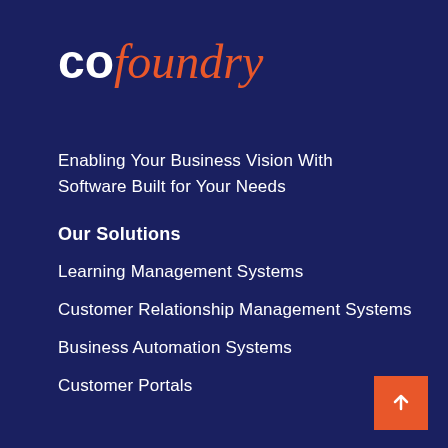cofoundry
Enabling Your Business Vision With Software Built for Your Needs
Our Solutions
Learning Management Systems
Customer Relationship Management Systems
Business Automation Systems
Customer Portals
Content Management Systems
Menu
Our Process
News